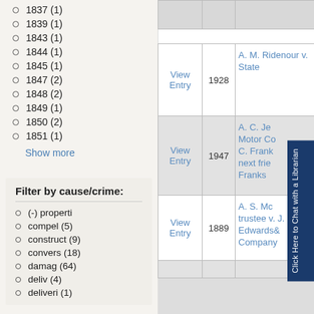1837 (1)
1839 (1)
1843 (1)
1844 (1)
1845 (1)
1847 (2)
1848 (2)
1849 (1)
1850 (2)
1851 (1)
Show more
Filter by cause/crime:
(-) properti
compel (5)
construct (9)
convers (18)
damag (64)
deliv (4)
deliveri (1)
|  | Year | Case |
| --- | --- | --- |
| View Entry | 1928 | A. M. Ridenour v. State |
| View Entry | 1947 | A. C. Je Motor Co C. Frank next frie Franks |
| View Entry | 1889 | A. S. Mc trustee v. J. E. Edwards& Company |